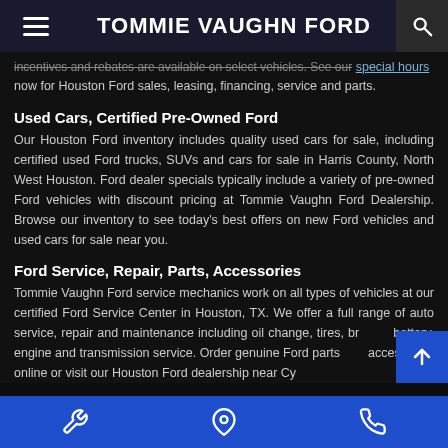TOMMIE VAUGHN FORD
incentives and rebates are available on select vehicles. See our special hours now for Houston Ford sales, leasing, financing, service and parts.
Used Cars, Certified Pre-Owned Ford
Our Houston Ford inventory includes quality used cars for sale, including certified used Ford trucks, SUVs and cars for sale in Harris County, North West Houston. Ford dealer specials typically include a variety of pre-owned Ford vehicles with discount pricing at Tommie Vaughn Ford Dealership. Browse our inventory to see today's best offers on new Ford vehicles and used cars for sale near you.
Ford Service, Repair, Parts, Accessories
Tommie Vaughn Ford service mechanics work on all types of vehicles at our certified Ford Service Center in Houston, TX. We offer a full range of auto service, repair and maintenance including oil change, tires, br battery, engine and transmission service. Order genuine Ford parts accessories online or visit our Houston Ford dealership near Cypress,
Service | Location | Phone